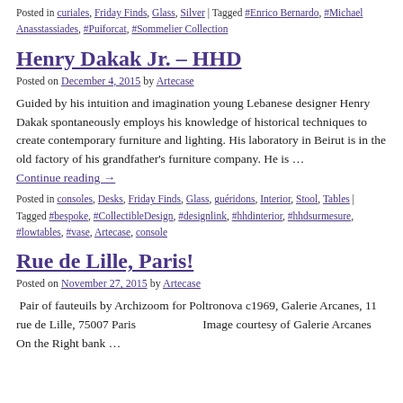Posted in curiales, Friday Finds, Glass, Silver | Tagged #Enrico Bernardo, #Michael Anasstassiades, #Puiforcat, #Sommelier Collection
Henry Dakak Jr. – HHD
Posted on December 4, 2015 by Artecase
Guided by his intuition and imagination young Lebanese designer Henry Dakak spontaneously employs his knowledge of historical techniques to create contemporary furniture and lighting. His laboratory in Beirut is in the old factory of his grandfather's furniture company. He is …
Continue reading →
Posted in consoles, Desks, Friday Finds, Glass, guéridons, Interior, Stool, Tables | Tagged #bespoke, #CollectibleDesign, #designlink, #hhdinterior, #hhdsurmesure, #lowtables, #vase, Artecase, console
Rue de Lille, Paris!
Posted on November 27, 2015 by Artecase
Pair of fauteuils by Archizoom for Poltronova c1969, Galerie Arcanes, 11 rue de Lille, 75007 Paris                    Image courtesy of Galerie Arcanes On the Right bank …